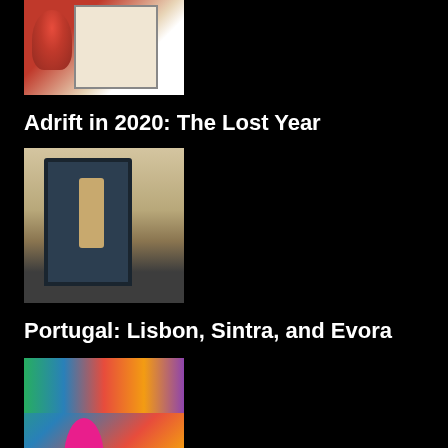[Figure (photo): Thumbnail image of flowers and artwork, partially visible at top of page]
Adrift in 2020: The Lost Year
[Figure (photo): Thumbnail image of a guitarist playing outside a dark blue doorway in a European-style building]
Portugal: Lisbon, Sintra, and Evora
[Figure (photo): Thumbnail image of a colorful mural with a woman in a pink dress in front of it]
Austin and Texas Hill Country
[Figure (photo): Thumbnail image of a vineyard with rows of vines under a blue sky, partially cut off at bottom]